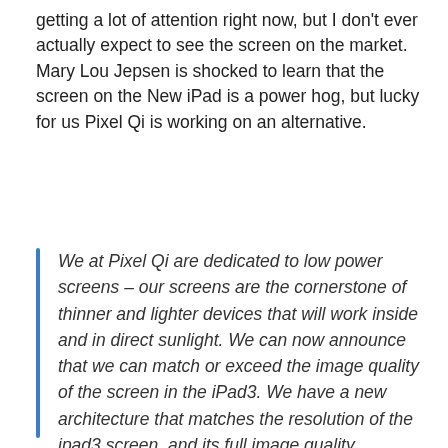getting a lot of attention right now, but I don't ever actually expect to see the screen on the market. Mary Lou Jepsen is shocked to learn that the screen on the New iPad is a power hog, but lucky for us Pixel Qi is working on an alternative.
We at Pixel Qi are dedicated to low power screens – our screens are the cornerstone of thinner and lighter devices that will work inside and in direct sunlight. We can now announce that we can match or exceed the image quality of the screen in the iPad3. We have a new architecture that matches the resolution of the ipad3 screen, and its full image quality including matching or exceeding contrast, color saturation, the viewing angle and so forth with massive power savings.